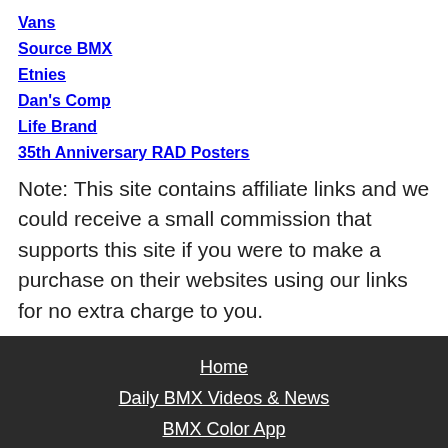Vans
Source BMX
Etnies
Dan's Comp
Life Brand
35th Anniversary RAD Posters
Note: This site contains affiliate links and we could receive a small commission that supports this site if you were to make a purchase on their websites using our links for no extra charge to you.
Home
Daily BMX Videos & News
BMX Color App
BMX Spoke Calculator